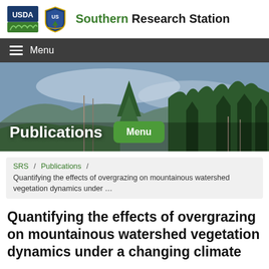Southern Research Station
[Figure (screenshot): USDA and US Forest Service logos in the site header]
Menu
[Figure (photo): Panoramic photo of a mountainous forested landscape with evergreen trees under cloudy skies]
Publications
Menu
SRS / Publications / Quantifying the effects of overgrazing on mountainous watershed vegetation dynamics under …
Quantifying the effects of overgrazing on mountainous watershed vegetation dynamics under a changing climate